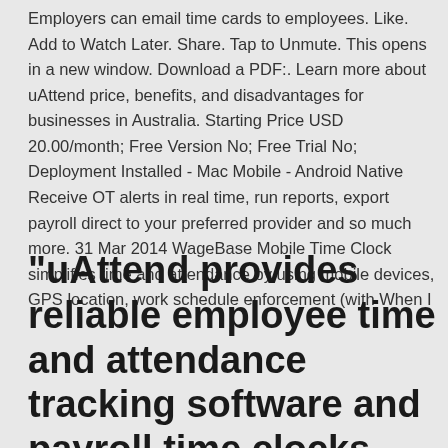Employers can email time cards to employees. Like. Add to Watch Later. Share. Tap to Unmute. This opens in a new window. Download a PDF:. Learn more about uAttend price, benefits, and disadvantages for businesses in Australia. Starting Price USD 20.00/month; Free Version No; Free Trial No; Deployment Installed - Mac Mobile - Android Native Receive OT alerts in real time, run reports, export payroll direct to your preferred provider and so much more. 31 Mar 2014 WageBase Mobile Time Clock simplifies time and attendance by using mobile devices, GPS location, work schedule enforcement (with When I
"uAttend provides reliable employee time and attendance tracking software and payroll time clocks that help boost workforce productivity